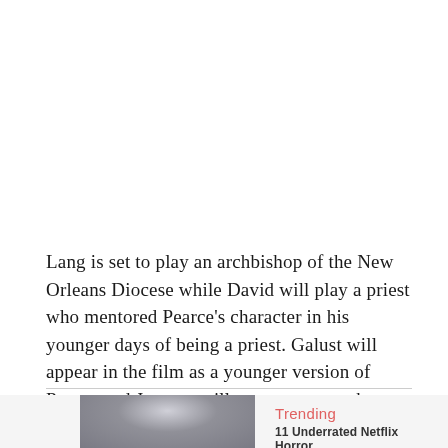Lang is set to play an archbishop of the New Orleans Diocese while David will play a priest who mentored Pearce's character in his younger days of being a priest. Galust will appear in the film as a younger version of Pearce and Jenness will star as a young boy who committed terrible crime while he was reportedly possessed.
[Figure (photo): Partial bottom panel showing a dark partially lit figure on the left side and Trending label with subtitle on the right side]